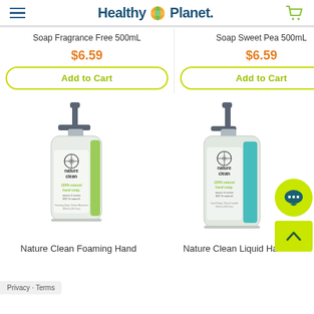Healthy Planet
Soap Fragrance Free 500mL
Soap Sweet Pea 500mL
$6.59
$6.59
Add to Cart
Add to Cart
[Figure (photo): Nature Clean Foaming Hand soap bottle with pump dispenser, clear bottle with green label]
[Figure (photo): Nature Clean Liquid Hand soap bottle with pump dispenser, clear bottle with teal label]
Nature Clean Foaming Hand
Nature Clean Liquid Hand
Privacy · Terms